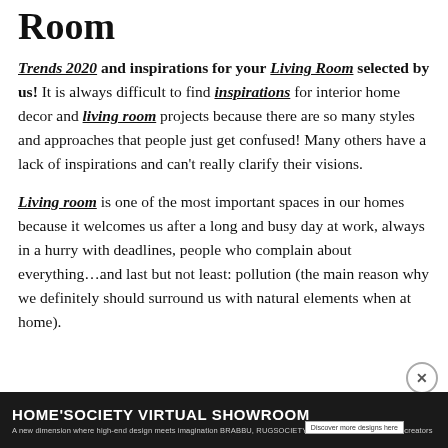Room
Trends 2020 and inspirations for your Living Room selected by us! It is always difficult to find inspirations for interior home decor and living room projects because there are so many styles and approaches that people just get confused! Many others have a lack of inspirations and can’t really clarify their visions.
Living room is one of the most important spaces in our homes because it welcomes us after a long and busy day at work, always in a hurry with deadlines, people who complain about everything…and last but not least: pollution (the main reason why we definitely should surround us with natural elements when at home).
[Figure (infographic): HOME'SOCIETY VIRTUAL SHOWROOM advertisement banner with dark background. Text reads: 'A new dimension where high-end design meets imagination BRABBU, RUGSOCIETY & MAISON VALENTINA as creators']